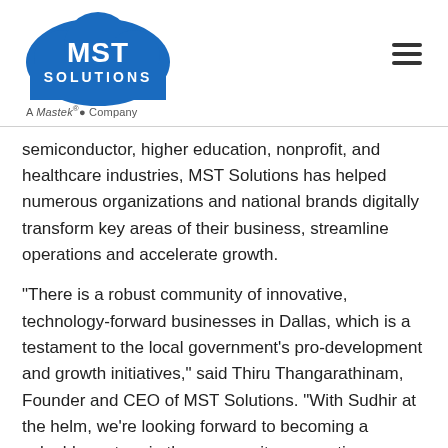[Figure (logo): MST Solutions logo - blue cloud shape with 'MST SOLUTIONS' text in white, and 'A Mastek Company' tagline below]
semiconductor, higher education, nonprofit, and healthcare industries, MST Solutions has helped numerous organizations and national brands digitally transform key areas of their business, streamline operations and accelerate growth.
"There is a robust community of innovative, technology-forward businesses in Dallas, which is a testament to the local government's pro-development and growth initiatives," said Thiru Thangarathinam, Founder and CEO of MST Solutions. "With Sudhir at the helm, we're looking forward to becoming a valuable partner in the community, supporting businesses in achieving digital transformation, and creating more jobs for local area tech talent."